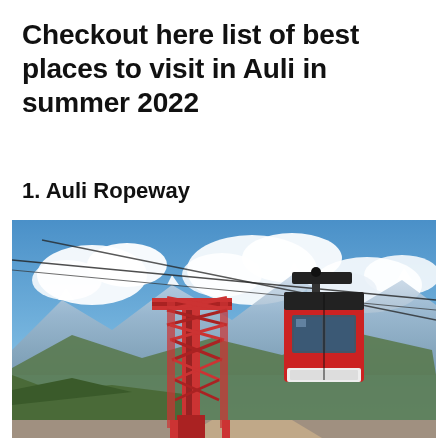Checkout here list of best places to visit in Auli in summer 2022
1. Auli Ropeway
[Figure (photo): Photo of Auli Ropeway showing a red cable car gondola suspended on cables next to a tall red metal tower structure, with snow-capped Himalayan mountains and blue sky with clouds in the background, and green forested hillside below.]